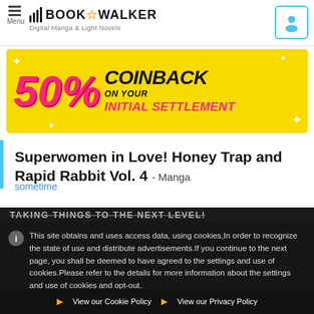BOOK☆WALKER Digital Manga & Light Novels
[Figure (infographic): 50% COINBACK ON YOUR INITIAL SETTLEMENT promotional banner with yellow background and pink/dark text]
Superwomen in Love! Honey Trap and Rapid Rabbit Vol. 4 - Manga
sometime
TAKING THINGS TO THE NEXT LEVEL!
This site obtains and uses access data, using cookies,In order to recognize the state of use and distribute advertisements.If you continue to the next page, you shall be deemed to have agreed to the settings and use of cookies.Please refer to the details for more information about the settings and use of cookies and opt-out.
I Agree
View our Cookie Policy  View our Privacy Policy